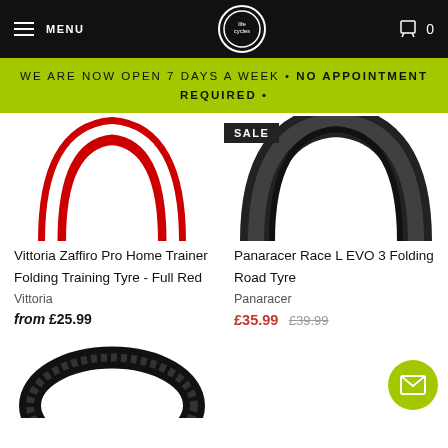MENU | Life Cycles logo | Cart 0
WE ARE NOW OPEN 7 DAYS A WEEK • NO APPOINTMENT REQUIRED •
[Figure (photo): Vittoria Zaffiro Pro Home Trainer tyre with red sidewall, arched shape on white background]
[Figure (photo): Panaracer Race L EVO 3 black folding road tyre, arched shape on white background with SALE badge]
Vittoria Zaffiro Pro Home Trainer Folding Training Tyre - Full Red
Vittoria
from £25.99
Panaracer Race L EVO 3 Folding Road Tyre
Panaracer
£35.99 £39.99
[Figure (photo): Partial view of a black knobby bicycle tyre at bottom of page]